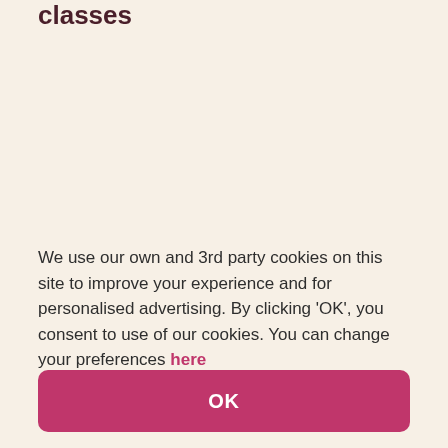classes
We use our own and 3rd party cookies on this site to improve your experience and for personalised advertising. By clicking 'OK', you consent to use of our cookies. You can change your preferences here
OK